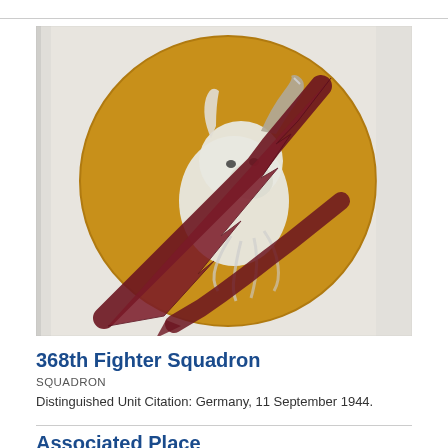[Figure (photo): Military squadron patch/emblem on fabric: gold/yellow circle with white goat head and crossed dark red/maroon lightning bolts or thunderbolts overlaid, on a light background fabric.]
368th Fighter Squadron
SQUADRON
Distinguished Unit Citation: Germany, 11 September 1944.
Associated Place